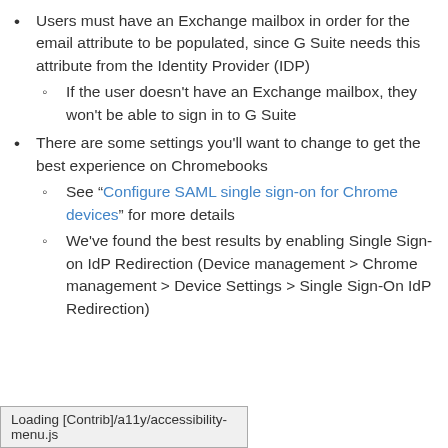Users must have an Exchange mailbox in order for the email attribute to be populated, since G Suite needs this attribute from the Identity Provider (IDP)
If the user doesn't have an Exchange mailbox, they won't be able to sign in to G Suite
There are some settings you'll want to change to get the best experience on Chromebooks
See "Configure SAML single sign-on for Chrome devices" for more details
We've found the best results by enabling Single Sign-on IdP Redirection (Device management > Chrome management > Device Settings > Single Sign-On IdP Redirection)
Loading [Contrib]/a11y/accessibility-menu.js